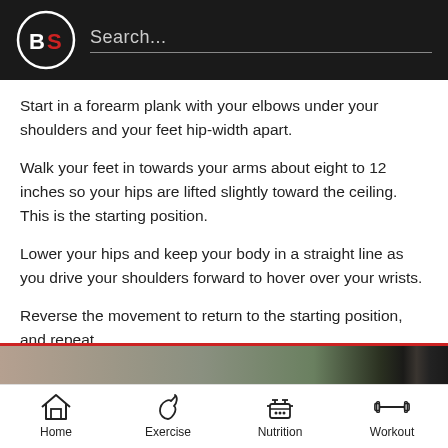BS | Search...
Start in a forearm plank with your elbows under your shoulders and your feet hip-width apart.
Walk your feet in towards your arms about eight to 12 inches so your hips are lifted slightly toward the ceiling. This is the starting position.
Lower your hips and keep your body in a straight line as you drive your shoulders forward to hover over your wrists.
Reverse the movement to return to the starting position, and repeat.
[Figure (photo): Partial photo strip showing an exercise/workout scene]
Home | Exercise | Nutrition | Workout